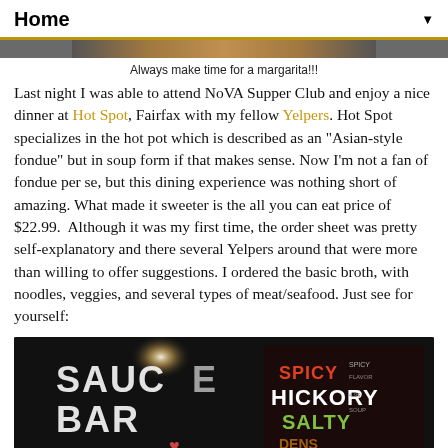Home ▼
[Figure (photo): Top strip of a photo showing a person holding a margarita]
Always make time for a margarita!!!
Last night I was able to attend NoVA Supper Club and enjoy a nice dinner at Hot Spot, Fairfax with my fellow Yelpers. Hot Spot specializes in the hot pot which is described as an "Asian-style fondue" but in soup form if that makes sense. Now I'm not a fan of fondue per se, but this dining experience was nothing short of amazing. What made it sweeter is the all you can eat price of $22.99. Although it was my first time, the order sheet was pretty self-explanatory and there several Yelpers around that were more than willing to offer suggestions. I ordered the basic broth, with noodles, veggies, and several types of meat/seafood. Just see for yourself:
[Figure (photo): Chalkboard sign reading SAUCE BAR with SPICY HICKORY SALTY and other broth options listed in colorful chalk text]